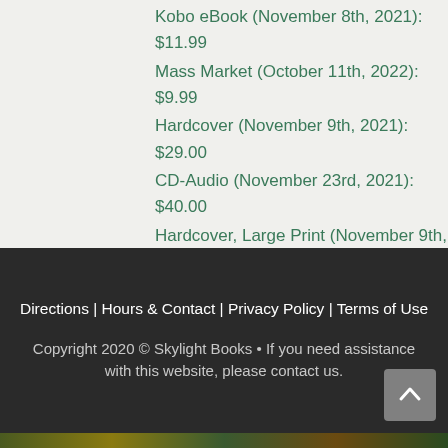Kobo eBook (November 8th, 2021): $11.99
Mass Market (October 11th, 2022): $9.99
Hardcover (November 9th, 2021): $29.00
CD-Audio (November 23rd, 2021): $40.00
Hardcover, Large Print (November 9th, 2021): $34.00
CD-Audio (October 11th, 2022): $20.00
Directions | Hours & Contact | Privacy Policy | Terms of Use

Copyright 2020 © Skylight Books • If you need assistance with this website, please contact us.